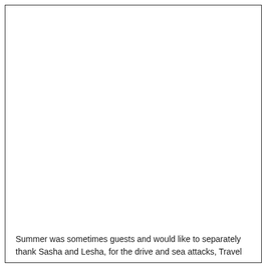Summer was sometimes guests and would like to separately thank Sasha and Lesha, for the drive and sea attacks, Travel